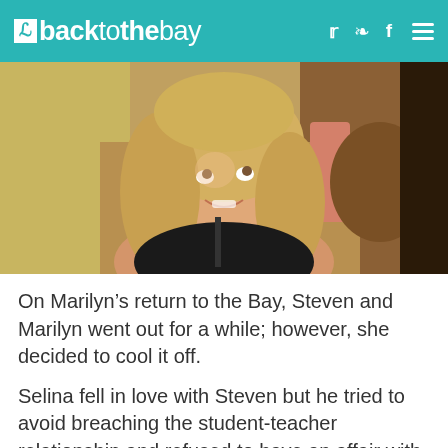backtothebay
[Figure (photo): Young blonde woman smiling and looking upward, seated in a restaurant or cafe setting with warm tones, chairs visible in background.]
On Marilyn’s return to the Bay, Steven and Marilyn went out for a while; however, she decided to cool it off.
Selina fell in love with Steven but he tried to avoid breaching the student-teacher relationship and refused to have an affair with her. As time went on, he gave in, and the scandal rocked the Bay.